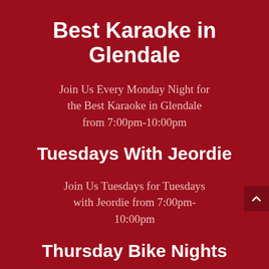Best Karaoke in Glendale
Join Us Every Monday Night for the Best Karaoke in Glendale from 7:00pm-10:00pm
Tuesdays With Jeordie
Join Us Tuesdays for Tuesdays with Jeordie from 7:00pm-10:00pm
Thursday Bike Nights